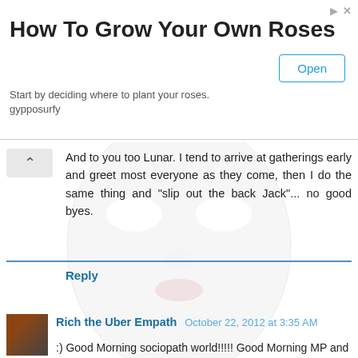[Figure (screenshot): Advertisement banner: How To Grow Your Own Roses with Open button]
How To Grow Your Own Roses
Start by deciding where to plant your roses.
gypposurfy
And to you too Lunar. I tend to arrive at gatherings early and greet most everyone as they come, then I do the same thing and "slip out the back Jack"... no good byes.
Reply
Rich the Uber Empath October 22, 2012 at 3:35 AM
:) Good Morning sociopath world!!!!! Good Morning MP and Virus!!!!
Whats up?
Reply
↓ Replies